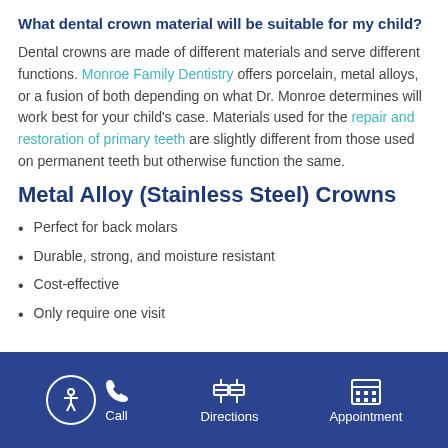What dental crown material will be suitable for my child?
Dental crowns are made of different materials and serve different functions. Monroe Family Dentistry offers porcelain, metal alloys, or a fusion of both depending on what Dr. Monroe determines will work best for your child's case. Materials used for the repair and restoration of primary teeth are slightly different from those used on permanent teeth but otherwise function the same.
Metal Alloy (Stainless Steel) Crowns
Perfect for back molars
Durable, strong, and moisture resistant
Cost-effective
Only require one visit
Call  Directions  Appointment